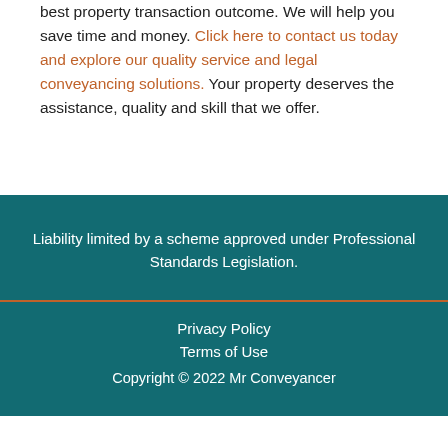best property transaction outcome. We will help you save time and money. Click here to contact us today and explore our quality service and legal conveyancing solutions. Your property deserves the assistance, quality and skill that we offer.
Liability limited by a scheme approved under Professional Standards Legislation.
Privacy Policy
Terms of Use
Copyright © 2022 Mr Conveyancer